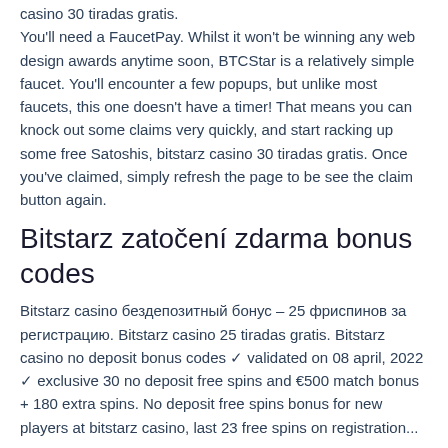casino 30 tiradas gratis. You'll need a FaucetPay. Whilst it won't be winning any web design awards anytime soon, BTCStar is a relatively simple faucet. You'll encounter a few popups, but unlike most faucets, this one doesn't have a timer! That means you can knock out some claims very quickly, and start racking up some free Satoshis, bitstarz casino 30 tiradas gratis. Once you've claimed, simply refresh the page to be see the claim button again.
Bitstarz zatočení zdarma bonus codes
Bitstarz casino бездепозитный бонус – 25 фриспинов за регистрацию. Bitstarz casino 25 tiradas gratis. Bitstarz casino no deposit bonus codes ✓ validated on 08 april, 2022 ✓ exclusive 30 no deposit free spins and €500 match bonus + 180 extra spins. No deposit free spins bonus for new players at bitstarz casino. Last 23 free spins on registration...